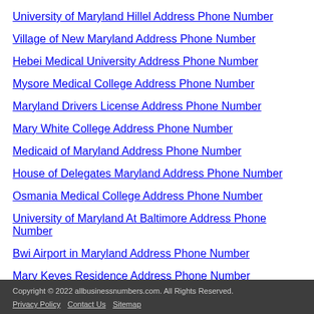University of Maryland Hillel Address Phone Number
Village of New Maryland Address Phone Number
Hebei Medical University Address Phone Number
Mysore Medical College Address Phone Number
Maryland Drivers License Address Phone Number
Mary White College Address Phone Number
Medicaid of Maryland Address Phone Number
House of Delegates Maryland Address Phone Number
Osmania Medical College Address Phone Number
University of Maryland At Baltimore Address Phone Number
Bwi Airport in Maryland Address Phone Number
Mary Keyes Residence Address Phone Number
Sponsered Ads
Copyright © 2022 allbusinessnumbers.com. All Rights Reserved. | Privacy Policy | Contact Us | Sitemap